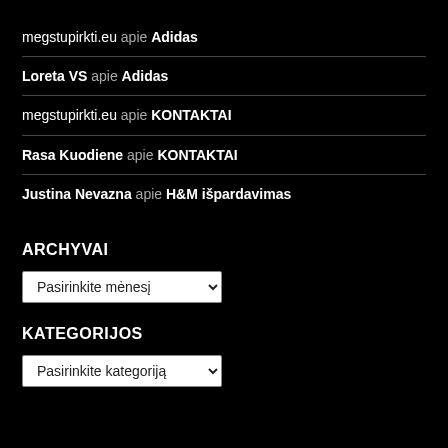megstupirkti.eu apie Adidas
Loreta VS apie Adidas
megstupirkti.eu apie KONTAKTAI
Rasa Kuodiene apie KONTAKTAI
Justina Nevazna apie H&M išpardavimas
ARCHYVAI
Pasirinkite mėnesį
KATEGORIJOS
Pasirinkite kategoriją